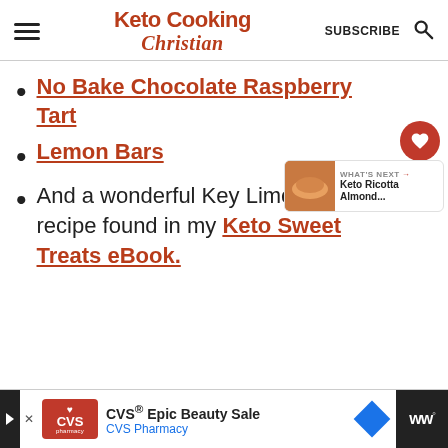Keto Cooking Christian — SUBSCRIBE
No Bake Chocolate Raspberry Tart
Lemon Bars
And a wonderful Key Lime Pie recipe found in my Keto Sweet Treats eBook.
22.9K